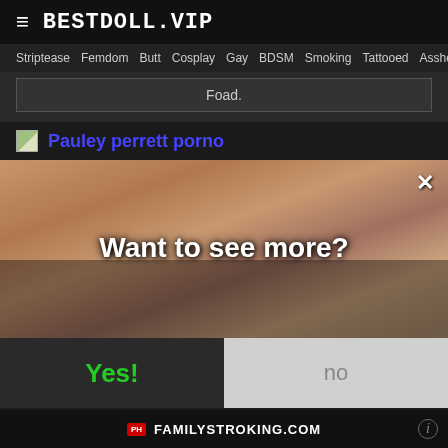BESTDOLL.VIP
Striptease  Femdom  Butt  Cosplay  Gay  BDSM  Smoking  Tattooed  Asshole  Fetish
Foad.
Pauley perrett porno
[Figure (photo): Adult content popup overlay with 'Want to see more?' prompt and Yes/No buttons over a blurred background image]
FAMILYSTROKING.COM